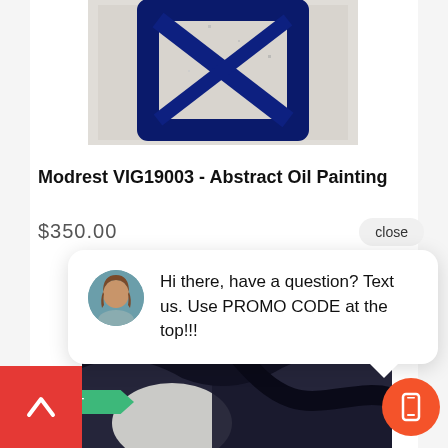[Figure (photo): Abstract oil painting with dark blue brushstrokes on white background, partially cropped at top]
Modrest VIG19003 - Abstract Oil Painting
$350.00
close
Hi there, have a question? Text us. Use PROMO CODE at the top!!!
ONLY 4 LEFT
[Figure (photo): Abstract painting with dark navy/black fluid shapes on white background, bottom portion of page]